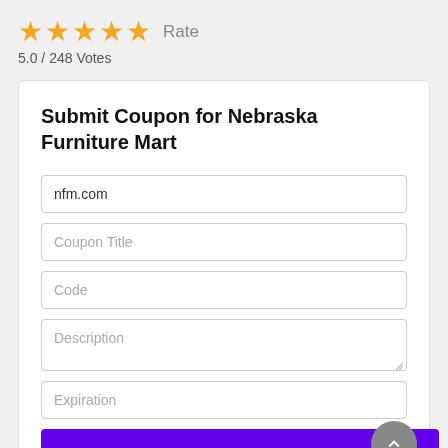[Figure (other): Five gold star rating icons followed by 'Rate' label]
5.0 / 248 Votes
Submit Coupon for Nebraska Furniture Mart
nfm.com
Coupon Title
Code
Description
Expiration
Submit
Nebraska Furniture Mart Stats